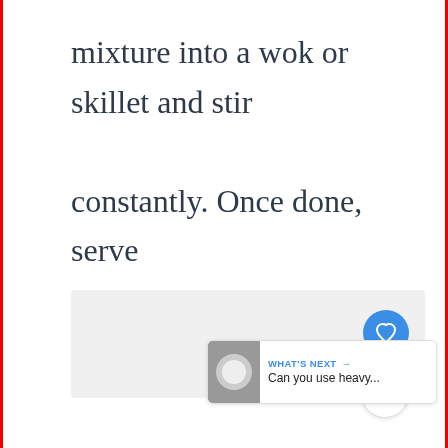mixture into a wok or skillet and stir constantly. Once done, serve immediately.
[Figure (other): Gray placeholder content area below the main text]
[Figure (other): Blue circular heart/favorite button icon]
[Figure (other): White circular share/social button icon]
[Figure (other): What's Next card with thumbnail image and text: WHAT'S NEXT → Can you use heavy...]